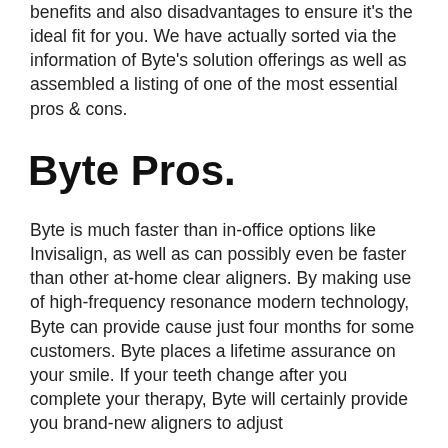benefits and also disadvantages to ensure it's the ideal fit for you. We have actually sorted via the information of Byte's solution offerings as well as assembled a listing of one of the most essential pros & cons.
Byte Pros.
Byte is much faster than in-office options like Invisalign, as well as can possibly even be faster than other at-home clear aligners. By making use of high-frequency resonance modern technology, Byte can provide cause just four months for some customers. Byte places a lifetime assurance on your smile. If your teeth change after you complete your therapy, Byte will certainly provide you brand-new aligners to adjust